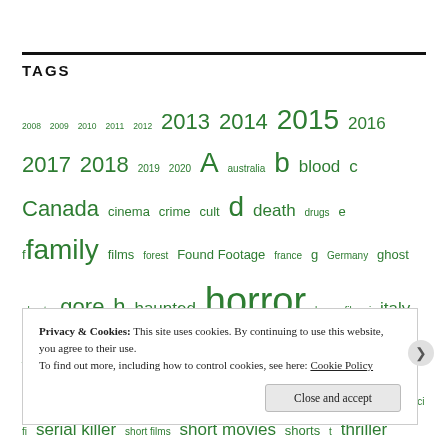TAGS
2008 2009 2010 2011 2012 2013 2014 2015 2016 2017 2018 2019 2020 A australia b blood c Canada cinema crime cult d death drugs e f family films forest Found Footage france g Germany ghost ghosts gore h haunted horror horror film i italy japan killing l list love m magic Monster monsters movie list movies murder n news o Occult p possession r s sci fi serial killer short films short movies shorts t thriller uk usa violence w zombie
Privacy & Cookies: This site uses cookies. By continuing to use this website, you agree to their use. To find out more, including how to control cookies, see here: Cookie Policy
Close and accept